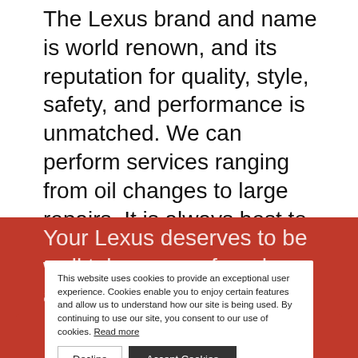The Lexus brand and name is world renown, and its reputation for quality, style, safety, and performance is unmatched. We can perform services ranging from oil changes to large repairs. It is always best to address repair and maintenance issues right away. Putting off small services and repairs can lead to larger issues which will cost a great deal of time and money in the future.
Your Lexus deserves to be well taken care of, and we are happy to help. Stop by or give us a call and we will schedule your next Lexus repair or maintenance check.
[Figure (screenshot): Cookie consent banner overlay with text: 'This website uses cookies to provide an exceptional user experience. Cookies enable you to enjoy certain features and allow us to understand how our site is being used. By continuing to use our site, you consent to our use of cookies. Read more' with Decline and Accept Cookies buttons.]
SHOP FOR TIRES